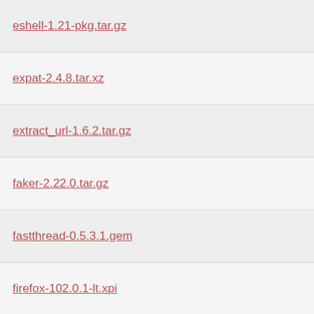eshell-1.21-pkg.tar.gz
expat-2.4.8.tar.xz
extract_url-1.6.2.tar.gz
faker-2.22.0.tar.gz
fastthread-0.5.3.1.gem
firefox-102.0.1-lt.xpi